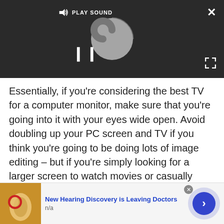[Figure (screenshot): Video player UI with dark background showing a loading spinner, pause button (II), PLAY SOUND label with speaker icon, close (X) button top right, and fullscreen expand button bottom right.]
Essentially, if you're considering the best TV for a computer monitor, make sure that you're going into it with your eyes wide open. Avoid doubling up your PC screen and TV if you think you're going to be doing lots of image editing – but if you're simply looking for a larger screen to watch movies or casually game, then a TV could be just the ticket. Here are our top recommendations...
[Figure (infographic): Advertisement banner: anatomical ear image on left, 'New Hearing Discovery is Leaving Doctors' title in blue, 'n/a' subtitle, close button top right, arrow button circle on right.]